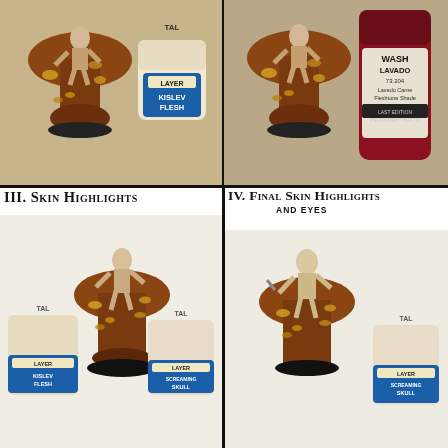[Figure (photo): Top-left panel: a painted miniature goblin/orc figure on a wooden painting handle, next to a Citadel Layer paint pot labeled 'KISLEV FLESH']
[Figure (photo): Top-right panel: a painted miniature goblin/orc figure on a wooden painting handle, next to a Vallejo Wash bottle labeled 'LAVADO 73.204 Lavado Carne Fleshtone Shade']
III. Skin Highlights
IV. Final Skin Highlights and Eyes
[Figure (photo): Left panel showing two Citadel paint pots (Kislev Flesh and Screaming Skull) with a painted goblin miniature on a handle between them. Small annotation text reads 'MIXED PAINTS, ADDING A LIGHTER TONE GRADUALLY']
[Figure (photo): Right panel showing a painted goblin miniature on a handle next to a Citadel Layer 'Screaming Skull' paint pot]
The method followed is the same as the previous tutorials.
For the 3rd step I just mixed in 2 or 3 times the lighter skin tone to the darker one to achieve a brighter colour.